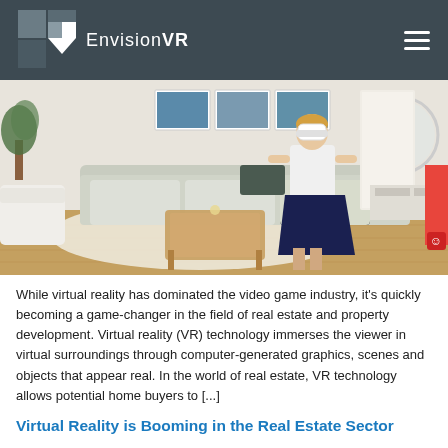EnvisionVR
[Figure (photo): Woman wearing VR headset standing in a modern furnished living room with sofas, artwork on walls, and wooden flooring]
While virtual reality has dominated the video game industry, it's quickly becoming a game-changer in the field of real estate and property development.  Virtual reality (VR) technology immerses the viewer in virtual surroundings through computer-generated graphics, scenes and objects that appear real.  In the world of real estate, VR technology allows potential home buyers to [...]
Virtual Reality is Booming in the Real Estate Sector